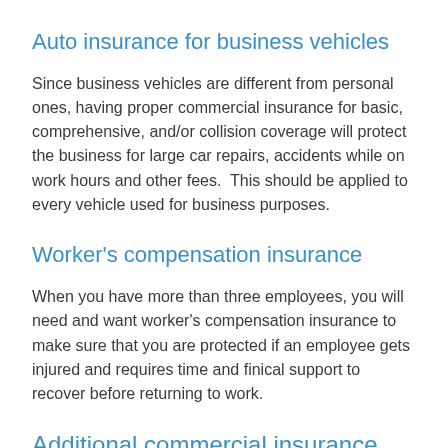Auto insurance for business vehicles
Since business vehicles are different from personal ones, having proper commercial insurance for basic, comprehensive, and/or collision coverage will protect the business for large car repairs, accidents while on work hours and other fees.  This should be applied to every vehicle used for business purposes.
Worker's compensation insurance
When you have more than three employees, you will need and want worker's compensation insurance to make sure that you are protected if an employee gets injured and requires time and finical support to recover before returning to work.
Additional commercial insurance